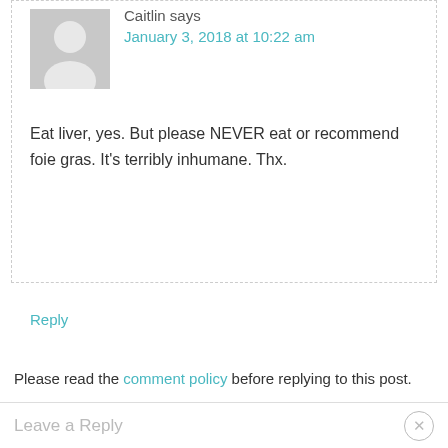[Figure (illustration): Grey placeholder avatar silhouette icon]
Caitlin says
January 3, 2018 at 10:22 am
Eat liver, yes. But please NEVER eat or recommend foie gras. It's terribly inhumane. Thx.
Reply
Please read the comment policy before replying to this post.
Leave a Reply